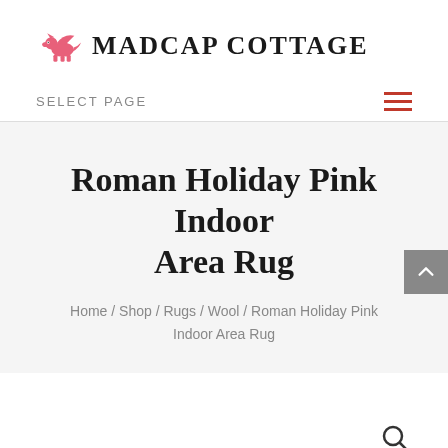[Figure (logo): Madcap Cottage logo with pink winged lion/griffin animal and bold serif text MADCAP COTTAGE]
SELECT PAGE
Roman Holiday Pink Indoor Area Rug
Home / Shop / Rugs / Wool / Roman Holiday Pink Indoor Area Rug